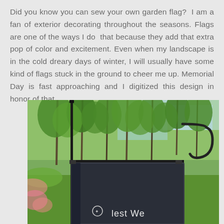Did you know you can sew your own garden flag? I am a fan of exterior decorating throughout the seasons. Flags are one of the ways I do that because they add that extra pop of color and excitement. Even when my landscape is in the cold dreary days of winter, I will usually have some kind of flags stuck in the ground to cheer me up. Memorial Day is fast approaching and I digitized this design in honor of that.
[Figure (photo): A garden flag on a black metal flag stand outdoors, surrounded by green trees and garden. The flag is dark navy/charcoal colored with embroidery at the bottom showing 'lest We' text visible and a small emblem. The flag is hung on a shepherd's hook style stand.]